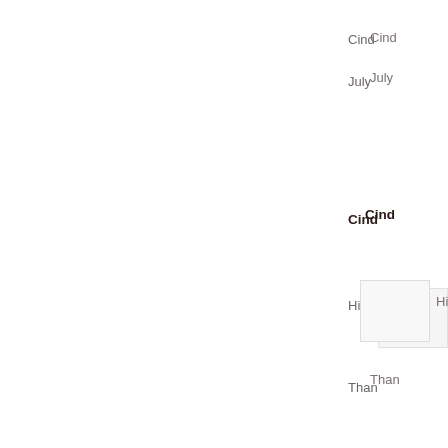Cind
July
Cind
Hi Al
Than
Cind
July
Cind
Hi Pa
Ther anot
Hope